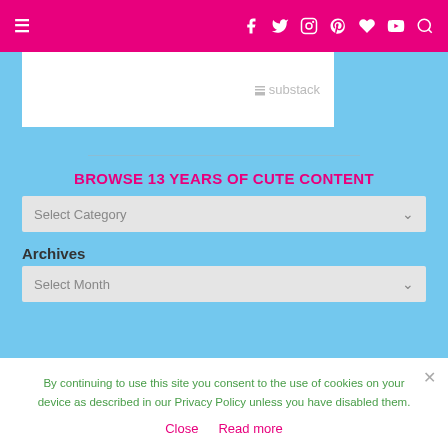Navigation bar with hamburger menu and social icons (Facebook, Twitter, Instagram, Pinterest, heart, YouTube, search) on magenta background
[Figure (screenshot): Substack embed/widget box — white rectangle with substack logo watermark in grey]
BROWSE 13 YEARS OF CUTE CONTENT
Select Category (dropdown)
Archives
Select Month (dropdown)
By continuing to use this site you consent to the use of cookies on your device as described in our Privacy Policy unless you have disabled them.
Close   Read more